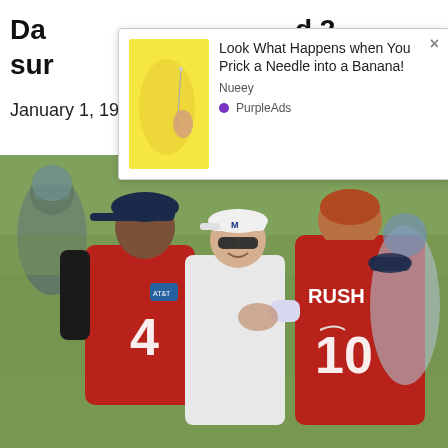Da... d 2 sur... eo)
January 1, 1970
[Figure (other): Ad popup overlay with banana and needle image. Text: 'Look What Happens when You Prick a Needle into a Banana!' Source: Nueey. Brand: PurpleAds.]
[Figure (photo): Dallas Cowboys football players at practice. Two quarterbacks in red jerseys (#4 and #10 RUSH) fist-bumping, with coaches and players in the background wearing Cowboys gear.]